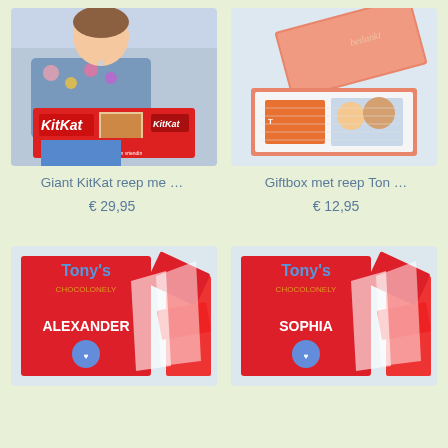[Figure (photo): Woman holding a giant KitKat chocolate bar with personalized photo and text. Red packaging with KitKat logo. Text on bar: 'Demi ik ben blij met een vriendin zoals jij. Liefs, Fleur']
Giant KitKat reep me …
€ 29,95
[Figure (photo): Open orange gift box with personalized chocolate bar inside, showing a photo of two people. Salmon/coral colored box lid open.]
Giftbox met reep Ton …
€ 12,95
[Figure (photo): Tony's Chocolonely personalized chocolate bar box with name ALEXANDER in white text on red background, with chocolates spilling out]
[Figure (photo): Tony's Chocolonely personalized chocolate bar box with name SOPHIA in white text on red background, with chocolates spilling out]